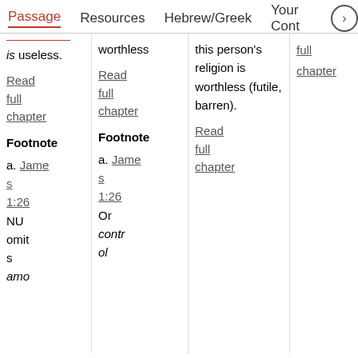Passage  Resources  Hebrew/Greek  Your Cont >
is useless.
Read full chapter
Footnote
a. James 1:26 NU omits amo
worthless
Read full chapter
Footnote
a. James 1:26 Or control
this person's religion is worthless (futile, barren).
Read full chapter
full chapter
Read full chapter